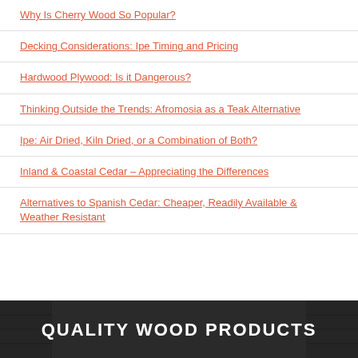Why Is Cherry Wood So Popular?
Decking Considerations: Ipe Timing and Pricing
Hardwood Plywood: Is it Dangerous?
Thinking Outside the Trends: Afromosia as a Teak Alternative
Ipe: Air Dried, Kiln Dried, or a Combination of Both?
Inland & Coastal Cedar – Appreciating the Differences
Alternatives to Spanish Cedar: Cheaper, Readily Available & Weather Resistant
[Figure (photo): Dark background banner image with white bold text reading QUALITY WOOD PRODUCTS]